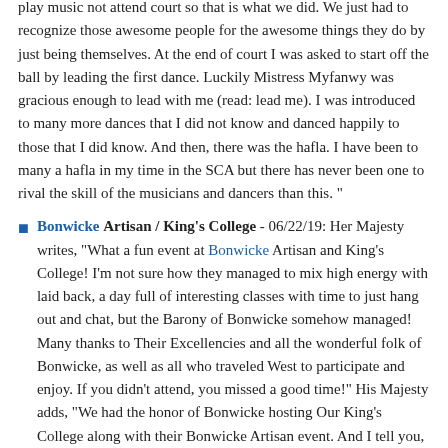play music not attend court so that is what we did. We just had to recognize those awesome people for the awesome things they do by just being themselves. At the end of court I was asked to start off the ball by leading the first dance. Luckily Mistress Myfanwy was gracious enough to lead with me (read: lead me). I was introduced to many more dances that I did not know and danced happily to those that I did know. And then, there was the hafla. I have been to many a hafla in my time in the SCA but there has never been one to rival the skill of the musicians and dancers than this. "
Bonwicke Artisan / King's College - 06/22/19: Her Majesty writes, "What a fun event at Bonwicke Artisan and King's College! I'm not sure how they managed to mix high energy with laid back, a day full of interesting classes with time to just hang out and chat, but the Barony of Bonwicke somehow managed! Many thanks to Their Excellencies and all the wonderful folk of Bonwicke, as well as all who traveled West to participate and enjoy. If you didn't attend, you missed a good time!" His Majesty adds, "We had the honor of Bonwicke hosting Our King's College along with their Bonwicke Artisan event. And I tell you, travelling more in this great Kingdom has been one of the most amazing things about being Crown. I have met so many great people and have gotten to know better some that I barely knew. We have been missing out! No matter where you go in Ansteorra, we have some of the most inviting, friendly, and helpful folks you could find! The classes were great, the people were great, and